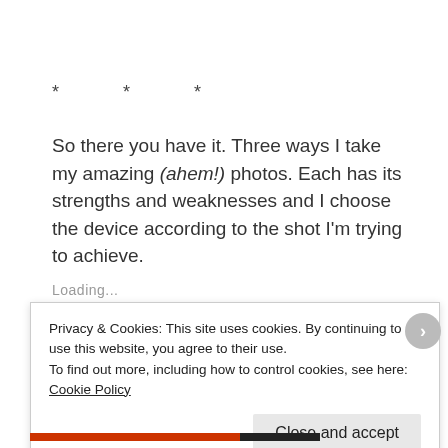* * *
So there you have it. Three ways I take my amazing (ahem!) photos. Each has its strengths and weaknesses and I choose the device according to the shot I'm trying to achieve.
Loading...
Privacy & Cookies: This site uses cookies. By continuing to use this website, you agree to their use.
To find out more, including how to control cookies, see here: Cookie Policy
Close and accept